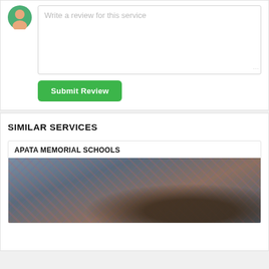[Figure (screenshot): User avatar icon — green circle with person silhouette in orange/tan]
Write a review for this service
Submit Review
SIMILAR SERVICES
APATA MEMORIAL SCHOOLS
[Figure (photo): Photo of students in school uniform — plaid blue-purple blazers with pink striped ties, group photo]